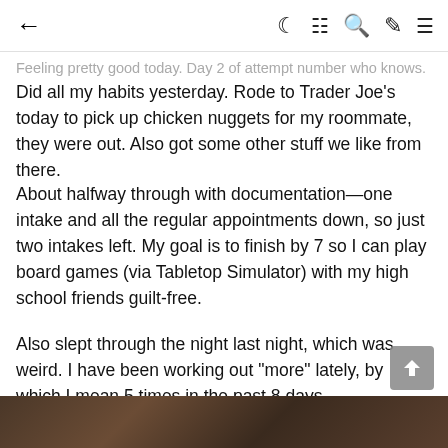← (back) | (moon icon) (grid icon) (search icon) (pen icon) (menu icon)
Feeling pretty good today. Day 2 of attempt number who knows.
Did all my habits yesterday. Rode to Trader Joe's today to pick up chicken nuggets for my roommate, they were out. Also got some other stuff we like from there.
About halfway through with documentation—one intake and all the regular appointments down, so just two intakes left. My goal is to finish by 7 so I can play board games (via Tabletop Simulator) with my high school friends guilt-free.
Also slept through the night last night, which was weird. I have been working out "more" lately, by which I mean 5 times in the past 8 days.
Also finally got my monitors set up vertically and neck pain is basically gone, so that's awesome. Just some lower back pain now, but not nearly as bad as the neck pain was. Still working on my posture though. I swear to get rid of this anterior pelvic tilt I'm going to have to do 50 leg lefts a day, every day for a year. Nothing seems to work. But I just keep trying...
[Figure (photo): Dark brown/wood toned image at bottom of page, partially visible]